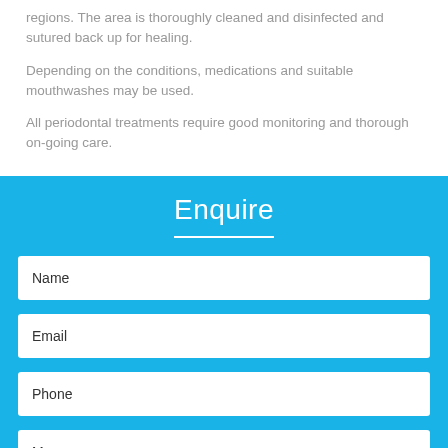regions. The area is thoroughly cleaned and disinfected and sutured back up for healing.
Depending on the conditions, medications and suitable mouthwashes may be used.
All periodontal treatments require good monitoring and thorough on-going care.
Enquire
[Figure (other): Web enquiry form with fields: Name, Email, Phone, Message (partially visible)]